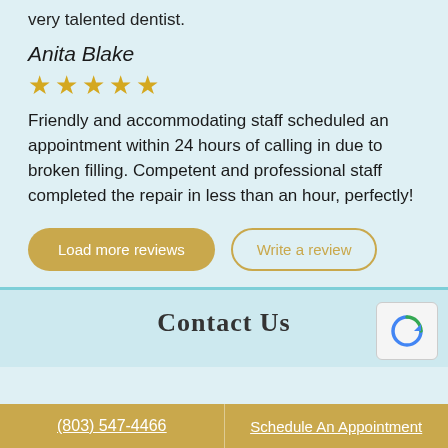very talented dentist.
Anita Blake
[Figure (other): Five gold star rating icons]
Friendly and accommodating staff scheduled an appointment within 24 hours of calling in due to broken filling. Competent and professional staff completed the repair in less than an hour, perfectly!
[Figure (other): Two buttons: 'Load more reviews' (filled gold) and 'Write a review' (outlined gold)]
Contact Us
(803) 547-4466   Schedule An Appointment